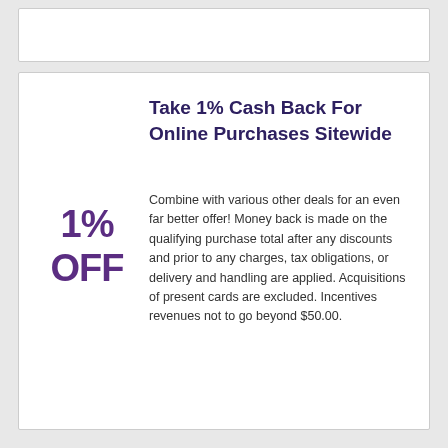Take 1% Cash Back For Online Purchases Sitewide
1% OFF
Combine with various other deals for an even far better offer! Money back is made on the qualifying purchase total after any discounts and prior to any charges, tax obligations, or delivery and handling are applied. Acquisitions of present cards are excluded. Incentives revenues not to go beyond $50.00.